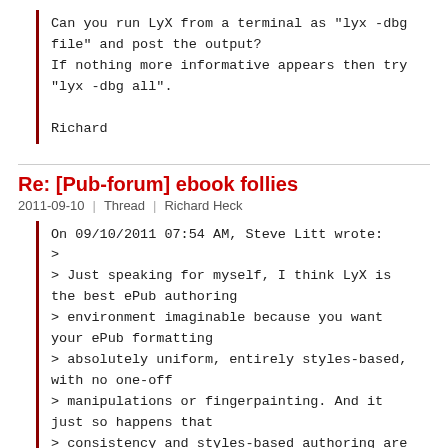Can you run LyX from a terminal as "lyx -dbg file" and post the output?
If nothing more informative appears then try "lyx -dbg all".

Richard
Re: [Pub-forum] ebook follies
2011-09-10 | Thread | Richard Heck
On 09/10/2011 07:54 AM, Steve Litt wrote:
>
> Just speaking for myself, I think LyX is the best ePub authoring
> environment imaginable because you want your ePub formatting
> absolutely uniform, entirely styles-based, with no one-off
> manipulations or fingerpainting. And it just so happens that
> consistency and styles-based authoring are